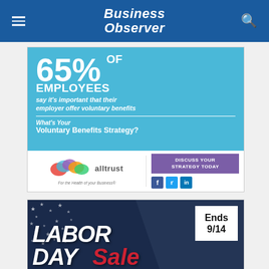Business Observer
[Figure (infographic): Alltrust advertisement: '65% OF EMPLOYEES say it's important that their employer offer voluntary benefits. What's Your Voluntary Benefits Strategy? Discuss Your Strategy Today.' with social media icons and Alltrust logo.]
[Figure (infographic): Labor Day Sale advertisement with 'Ends 9/14' text, dark navy background with stars, bold 'LABOR DAY Sale' text.]